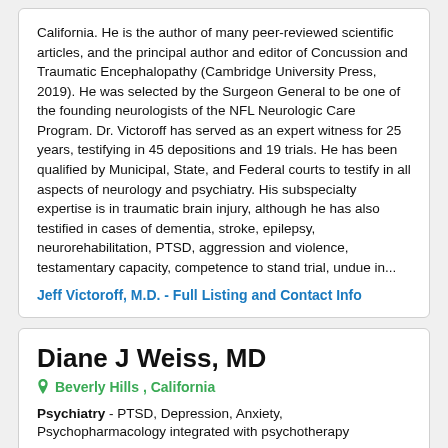California. He is the author of many peer-reviewed scientific articles, and the principal author and editor of Concussion and Traumatic Encephalopathy (Cambridge University Press, 2019). He was selected by the Surgeon General to be one of the founding neurologists of the NFL Neurologic Care Program. Dr. Victoroff has served as an expert witness for 25 years, testifying in 45 depositions and 19 trials. He has been qualified by Municipal, State, and Federal courts to testify in all aspects of neurology and psychiatry. His subspecialty expertise is in traumatic brain injury, although he has also testified in cases of dementia, stroke, epilepsy, neurorehabilitation, PTSD, aggression and violence, testamentary capacity, competence to stand trial, undue in...
Jeff Victoroff, M.D. - Full Listing and Contact Info
Diane J Weiss, MD
Beverly Hills , California
Psychiatry - PTSD, Depression, Anxiety, Psychopharmacology integrated with psychotherapy